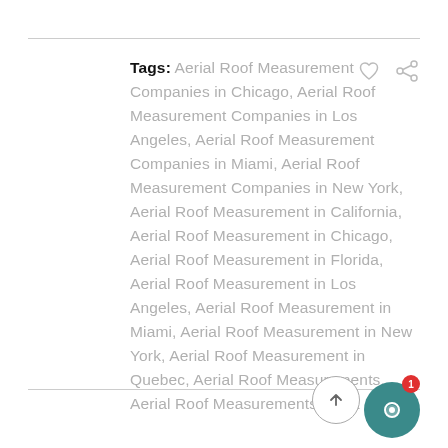Tags: Aerial Roof Measurement Companies in Chicago, Aerial Roof Measurement Companies in Los Angeles, Aerial Roof Measurement Companies in Miami, Aerial Roof Measurement Companies in New York, Aerial Roof Measurement in California, Aerial Roof Measurement in Chicago, Aerial Roof Measurement in Florida, Aerial Roof Measurement in Los Angeles, Aerial Roof Measurement in Miami, Aerial Roof Measurement in New York, Aerial Roof Measurement in Quebec, Aerial Roof Measurements, Aerial Roof Measurements in UK